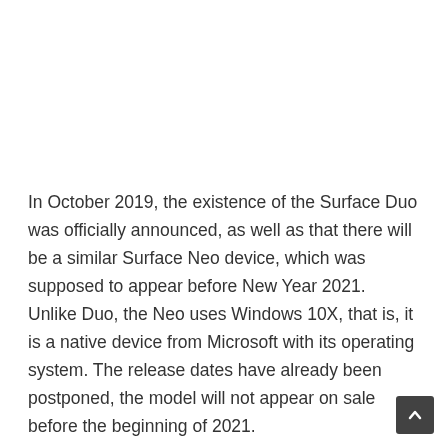In October 2019, the existence of the Surface Duo was officially announced, as well as that there will be a similar Surface Neo device, which was supposed to appear before New Year 2021. Unlike Duo, the Neo uses Windows 10X, that is, it is a native device from Microsoft with its operating system. The release dates have already been postponed, the model will not appear on sale before the beginning of 2021.
Microsoft boasted that it took about five years and about a billion dollars to develop the Duo. Both look